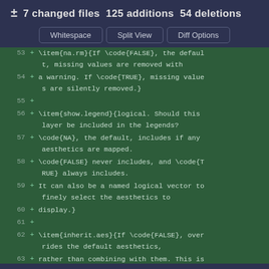± 7 changed files  125 additions  54 deletions
Whitespace  Split View  Diff Options
53 + \item{na.rm}{If \code{FALSE}, the default, missing values are removed with
54 + a warning. If \code{TRUE}, missing values are silently removed.}
55 +
56 + \item{show.legend}{logical. Should this layer be included in the legends?
57 + \code{NA}, the default, includes if any aesthetics are mapped.
58 + \code{FALSE} never includes, and \code{TRUE} always includes.
59 + It can also be a named logical vector to finely select the aesthetics to
60 + display.}
61 +
62 + \item{inherit.aes}{If \code{FALSE}, overrides the default aesthetics,
63 + rather than combining with them. This is most useful for helper functions